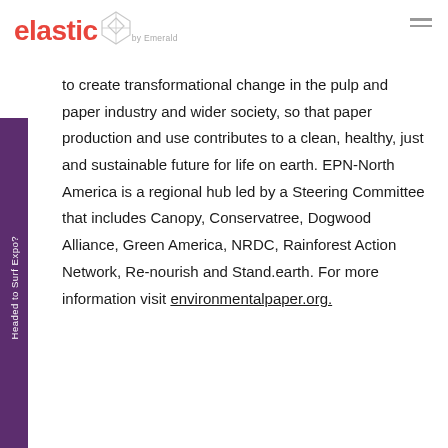elastic by Emerald
to create transformational change in the pulp and paper industry and wider society, so that paper production and use contributes to a clean, healthy, just and sustainable future for life on earth. EPN-North America is a regional hub led by a Steering Committee that includes Canopy, Conservatree, Dogwood Alliance, Green America, NRDC, Rainforest Action Network, Re-nourish and Stand.earth. For more information visit environmentalpaper.org.